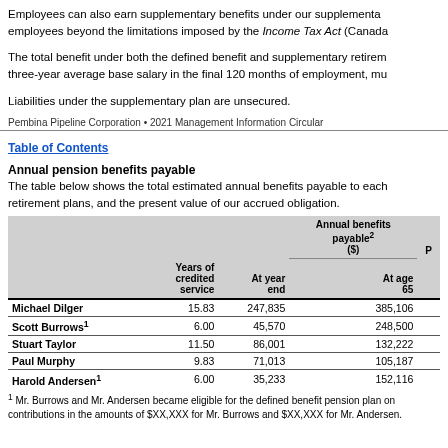Employees can also earn supplementary benefits under our supplemental employees beyond the limitations imposed by the Income Tax Act (Canada).
The total benefit under both the defined benefit and supplementary retirement three-year average base salary in the final 120 months of employment, mu
Liabilities under the supplementary plan are unsecured.
Pembina Pipeline Corporation • 2021 Management Information Circular
Table of Contents
Annual pension benefits payable
The table below shows the total estimated annual benefits payable to each retirement plans, and the present value of our accrued obligation.
|  | Years of credited service | At year end | Annual benefits payable2 ($) At age 65 | P |
| --- | --- | --- | --- | --- |
| Michael Dilger | 15.83 | 247,835 | 385,106 |  |
| Scott Burrows1 | 6.00 | 45,570 | 248,500 |  |
| Stuart Taylor | 11.50 | 86,001 | 132,222 |  |
| Paul Murphy | 9.83 | 71,013 | 105,187 |  |
| Harold Andersen1 | 6.00 | 35,233 | 152,116 |  |
1 Mr. Burrows and Mr. Andersen became eligible for the defined benefit pension plan on contributions in the amounts of $XX,XXX for Mr. Burrows and $XX,XXX for Mr. Andersen.